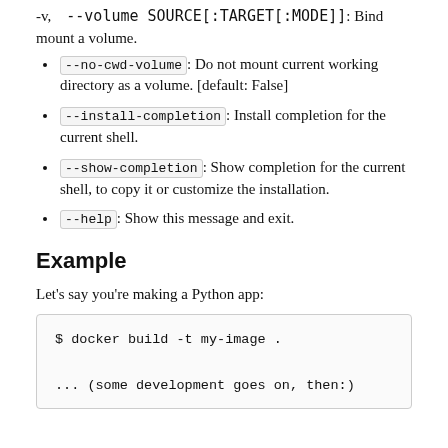-v, --volume SOURCE[:TARGET[:MODE]]: Bind mount a volume.
--no-cwd-volume: Do not mount current working directory as a volume. [default: False]
--install-completion: Install completion for the current shell.
--show-completion: Show completion for the current shell, to copy it or customize the installation.
--help: Show this message and exit.
Example
Let's say you're making a Python app:
$ docker build -t my-image .

... (some development goes on, then:)